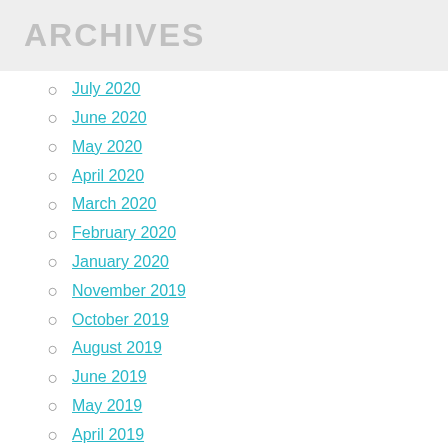ARCHIVES
July 2020
June 2020
May 2020
April 2020
March 2020
February 2020
January 2020
November 2019
October 2019
August 2019
June 2019
May 2019
April 2019
March 2019
December 2018
November 2018
August 2018
June 2018
May 2018